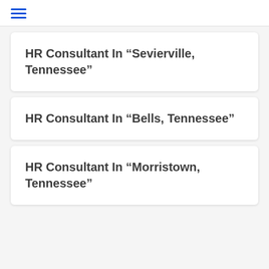HR Consultant In “Sevierville, Tennessee”
HR Consultant In “Bells, Tennessee”
HR Consultant In “Morristown, Tennessee”